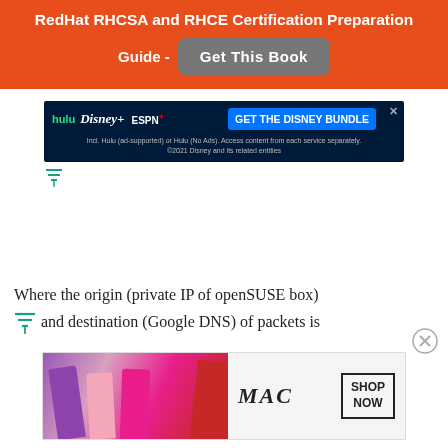RedHat RHCSA and RHCE Certification Preparation Guide - Get This Book
[Figure (advertisement): Disney Bundle advertisement banner with Hulu, Disney+, and ESPN+ logos and 'GET THE DISNEY BUNDLE' call to action button]
Where the origin (private IP of openSUSE box) and destination (Google DNS) of packets is
[Figure (advertisement): MAC cosmetics advertisement showing lipsticks with SHOP NOW button]